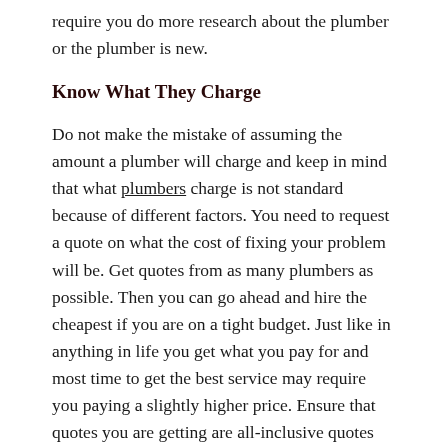require you do more research about the plumber or the plumber is new.
Know What They Charge
Do not make the mistake of assuming the amount a plumber will charge and keep in mind that what plumbers charge is not standard because of different factors. You need to request a quote on what the cost of fixing your problem will be. Get quotes from as many plumbers as possible. Then you can go ahead and hire the cheapest if you are on a tight budget. Just like in anything in life you get what you pay for and most time to get the best service may require you paying a slightly higher price. Ensure that quotes you are getting are all-inclusive quotes which cover everything including taxes. An all-inclusive quote makes comparing quotes from different plumber easy to make it easy for you to know the dollar amount paid in the service.